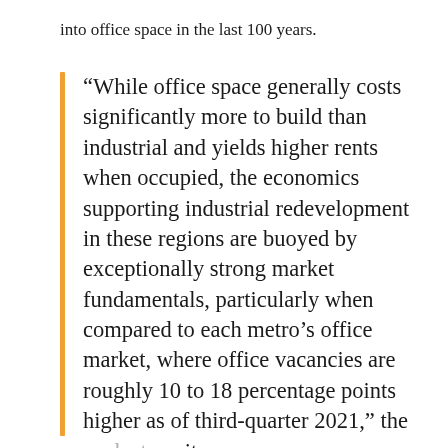into office space in the last 100 years.
“While office space generally costs significantly more to build than industrial and yields higher rents when occupied, the economics supporting industrial redevelopment in these regions are buoyed by exceptionally strong market fundamentals, particularly when compared to each metro’s office market, where office vacancies are roughly 10 to 18 percentage points higher as of third-quarter 2021,” the analysts write.